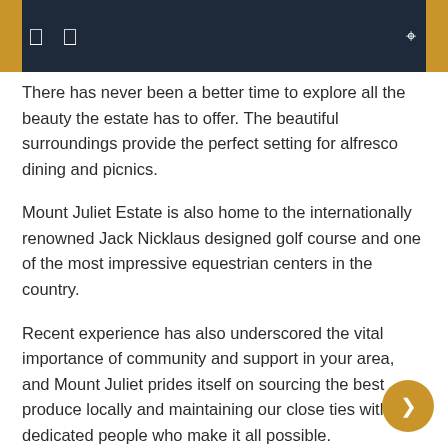[navigation bar with icons]
There has never been a better time to explore all the beauty the estate has to offer. The beautiful surroundings provide the perfect setting for alfresco dining and picnics.
Mount Juliet Estate is also home to the internationally renowned Jack Nicklaus designed golf course and one of the most impressive equestrian centers in the country.
Recent experience has also underscored the vital importance of community and support in your area, and Mount Juliet prides itself on sourcing the best produce locally and maintaining our close ties with the dedicated people who make it all possible.